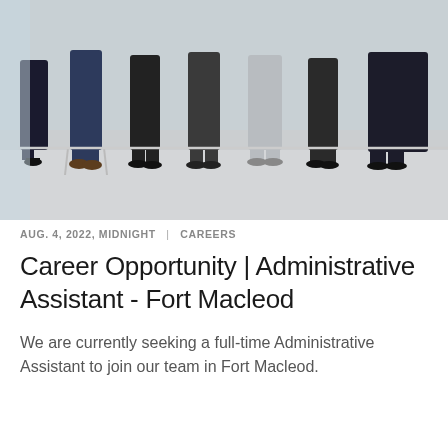[Figure (photo): Group of people seated in a row on chairs, showing only their lower bodies from waist down — wearing business and casual attire, in a waiting room or lobby setting with a light grey floor and white wall background.]
AUG. 4, 2022, MIDNIGHT  |  CAREERS
Career Opportunity | Administrative Assistant - Fort Macleod
We are currently seeking a full-time Administrative Assistant to join our team in Fort Macleod.